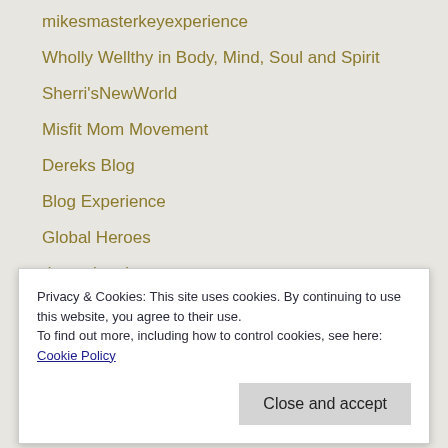mikesmasterkeyexperience
Wholly Wellthy in Body, Mind, Soul and Spirit
Sherri'sNewWorld
Misfit Mom Movement
Dereks Blog
Blog Experience
Global Heroes
desantismd
Privacy & Cookies: This site uses cookies. By continuing to use this website, you agree to their use.
To find out more, including how to control cookies, see here: Cookie Policy
victorpdedaj
Diane's blog